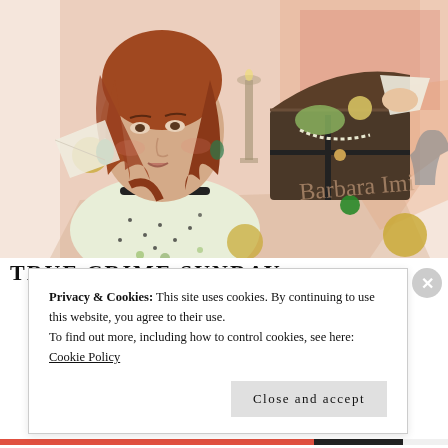[Figure (illustration): Illustrated portrait of a woman with auburn hair, wearing a black choker and a white patterned dress with green teardrop earrings. Behind her is an open treasure chest with jewelry and gold coins, along with a candlestick, chalice, and a cursive signature reading 'Barbara Inn' or similar. Background is warm peach and pink geometric shapes.]
TRUE CRIME SUNDAY
Privacy & Cookies: This site uses cookies. By continuing to use this website, you agree to their use.
To find out more, including how to control cookies, see here: Cookie Policy
Close and accept